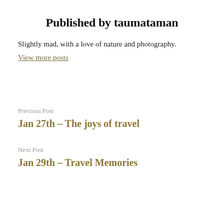Published by taumataman
Slightly mad, with a love of nature and photography.
View more posts
Previous Post
Jan 27th – The joys of travel
Next Post
Jan 29th – Travel Memories